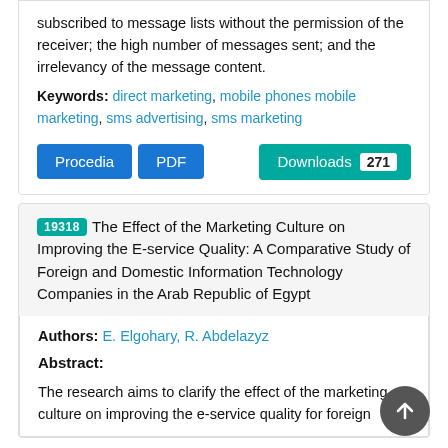subscribed to message lists without the permission of the receiver; the high number of messages sent; and the irrelevancy of the message content.
Keywords: direct marketing, mobile phones mobile marketing, sms advertising, sms marketing
Procedia  PDF  Downloads 271
19318 The Effect of the Marketing Culture on Improving the E-service Quality: A Comparative Study of Foreign and Domestic Information Technology Companies in the Arab Republic of Egypt
Authors: E. Elgohary, R. Abdelazyz
Abstract:
The research aims to clarify the effect of the marketing culture on improving the e-service quality for foreign